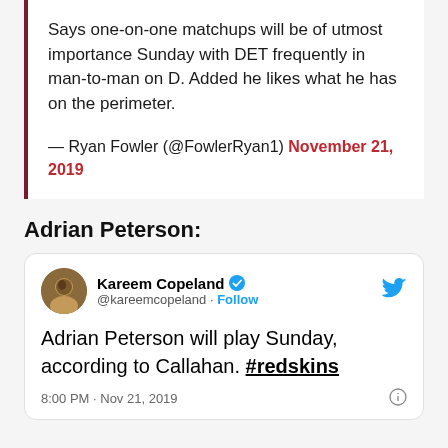Says one-on-one matchups will be of utmost importance Sunday with DET frequently in man-to-man on D. Added he likes what he has on the perimeter.
— Ryan Fowler (@FowlerRyan1) November 21, 2019
Adrian Peterson:
[Figure (screenshot): Tweet from @kareemcopeland (Kareem Copeland, verified) with Twitter bird logo. Text: 'Adrian Peterson will play Sunday, according to Callahan. #redskins'. Timestamp: 8:00 PM · Nov 21, 2019]